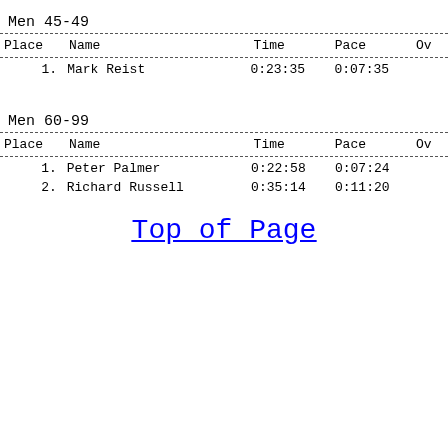Men 45-49
| Place | Name | Time | Pace | Ov |
| --- | --- | --- | --- | --- |
| 1. | Mark Reist | 0:23:35 | 0:07:35 |  |
Men 60-99
| Place | Name | Time | Pace | Ov |
| --- | --- | --- | --- | --- |
| 1. | Peter Palmer | 0:22:58 | 0:07:24 |  |
| 2. | Richard Russell | 0:35:14 | 0:11:20 |  |
Top of Page